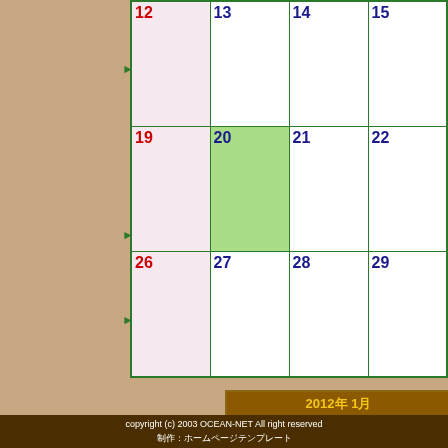[Figure (other): Monthly calendar grid showing dates 12-29 with Sunday highlighted in pink, date 20 highlighted in green, green border/arrows on left]
| 日 | 月 | 火 | 水 | 木 | 金 | 土 |
| --- | --- | --- | --- | --- | --- | --- |
| 1 | 2 | 3 | 4 | 5 | 6 | 7 |
| 8 | 9 | 10 | 11 | 12 | 13 | 14 |
| 15 | 16 | 17 | 18 | 19 | 20 | 21 |
| 22 | 23 | 24 | 25 | 26 | 27 | 28 |
| 29 | 30 | 31 |  |  |  |  |
copyright (c) 2003 OCEAN-NET All right reserved
制作：ホームページテンプレート